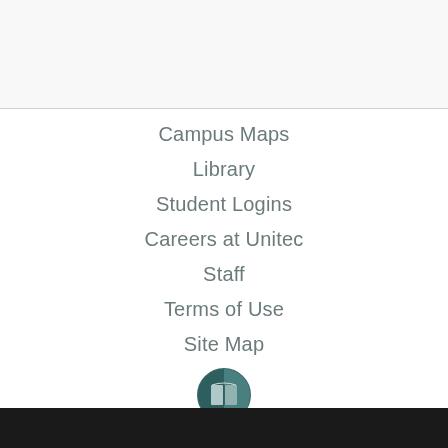Campus Maps
Library
Student Logins
Careers at Unitec
Staff
Terms of Use
Site Map
[Figure (logo): Unitec circular logo with teal/dark teal coloring and a stylized book/shield icon]